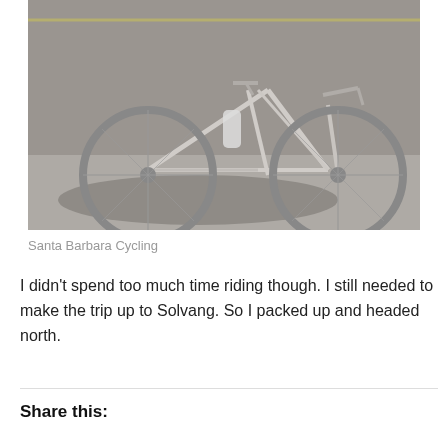[Figure (photo): A silver/chrome road bicycle leaning against a concrete wall on a sidewalk, photographed in bright sunlight with shadow cast on the ground. The bike has drop handlebars, a water bottle, and a chain drive visible.]
Santa Barbara Cycling
I didn't spend too much time riding though. I still needed to make the trip up to Solvang. So I packed up and headed north.
Share this: